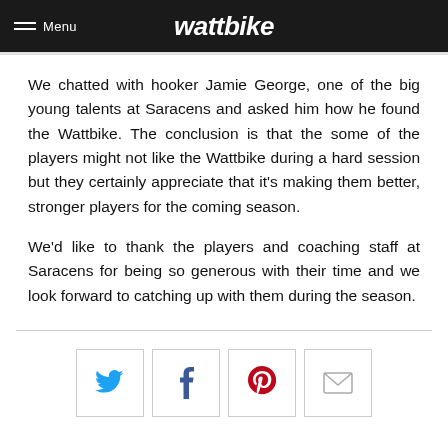Menu | wattbike
We chatted with hooker Jamie George, one of the big young talents at Saracens and asked him how he found the Wattbike. The conclusion is that the some of the players might not like the Wattbike during a hard session but they certainly appreciate that it's making them better, stronger players for the coming season.
We'd like to thank the players and coaching staff at Saracens for being so generous with their time and we look forward to catching up with them during the season.
[Figure (other): Social sharing buttons: Twitter, Facebook, Pinterest, Email]